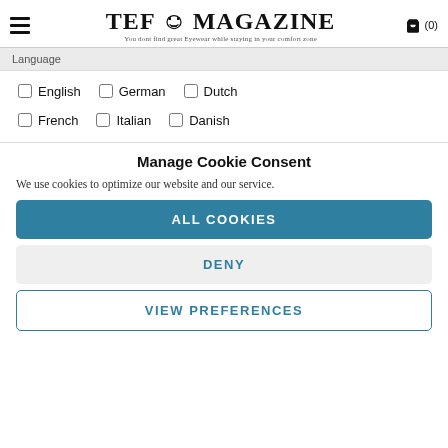TEF MAGAZINE — You dont find great Eyewear while staying in your comfort zone — (0)
Language
English  German  Dutch
French  Italian  Danish
Manage Cookie Consent
We use cookies to optimize our website and our service.
ALL COOKIES
DENY
VIEW PREFERENCES